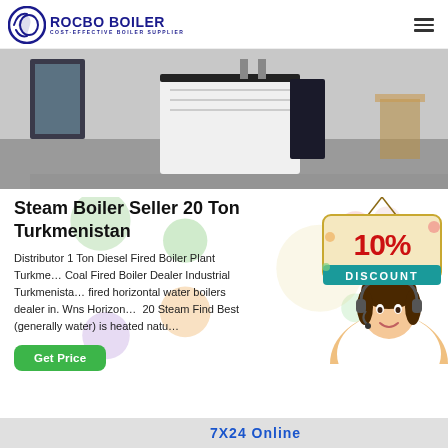[Figure (logo): Rocbo Boiler logo with circular icon and text 'ROCBO BOILER / COST-EFFECTIVE BOILER SUPPLIER']
[Figure (photo): Industrial boiler equipment in a facility room, showing white/black boiler unit on concrete floor]
Steam Boiler Seller 20 Ton Turkmenistan
Distributor 1 Ton Diesel Fired Boiler Plant Turkmenistan... Coal Fired Boiler Dealer Industrial Turkmenistan... fired horizontal water boilers dealer in. Wns Horizontal 20 Steam Find Best (generally water) is heated natu...
[Figure (infographic): 10% DISCOUNT badge sign hanging on string with colorful bubbles decoration]
[Figure (photo): Customer service representative woman wearing headset smiling]
Get Price
7X24 Online